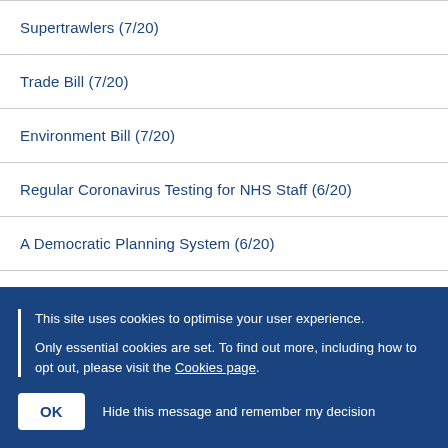Supertrawlers (7/20)
Trade Bill (7/20)
Environment Bill (7/20)
Regular Coronavirus Testing for NHS Staff (6/20)
A Democratic Planning System (6/20)
Proposal to Extend the Transition Period – Social Market Foundation Report (6/20)
This site uses cookies to optimise your user experience.

Only essential cookies are set. To find out more, including how to opt out, please visit the Cookies page.
Hide this message and remember my decision